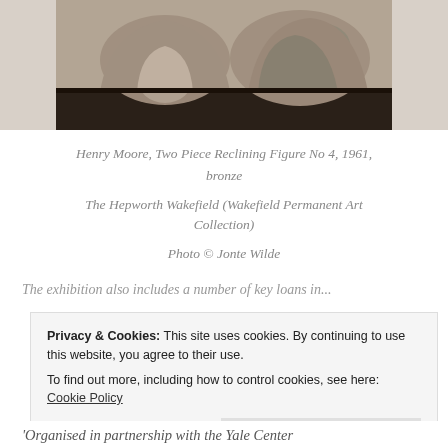[Figure (photo): Photograph of Henry Moore sculpture 'Two Piece Reclining Figure No 4, 1961', bronze, showing two abstract reclining forms on a dark rectangular base, gray textured stone-like surface.]
Henry Moore, Two Piece Reclining Figure No 4, 1961, bronze
The Hepworth Wakefield (Wakefield Permanent Art Collection)
Photo © Jonte Wilde
The exhibition also includes a number of key loans in...
Privacy & Cookies: This site uses cookies. By continuing to use this website, you agree to their use.
To find out more, including how to control cookies, see here: Cookie Policy
Close and accept
'Organised in partnership with the Yale Center